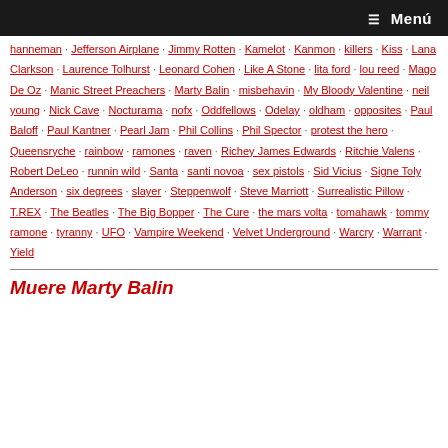≡ Menú
hanneman · Jefferson Airplane · Jimmy Rotten · Kamelot · Kanmon · killers · Kiss · Lana Clarkson · Laurence Tolhurst · Leonard Cohen · Like A Stone · lita ford · lou reed · Mago De Oz · Manic Street Preachers · Marty Balin · misbehavin · My Bloody Valentine · neil young · Nick Cave · Nocturama · nofx · Oddfellows · Odelay · oldham · opposites · Paul Baloff · Paul Kantner · Pearl Jam · Phil Collins · Phil Spector · protest the hero · Queensryche · rainbow · ramones · raven · Richey James Edwards · Ritchie Valens · Robert DeLeo · runnin wild · Santa · santi novoa · sex pistols · Sid Vicius · Signe Toly Anderson · six degrees · slayer · Steppenwolf · Steve Marriott · Surrealistic Pillow · T.REX · The Beatles · The Big Bopper · The Cure · the mars volta · tomahawk · tommy ramone · tyranny · UFO · Vampire Weekend · Velvet Underground · Warcry · Warrant · Yield
Muere Marty Balin